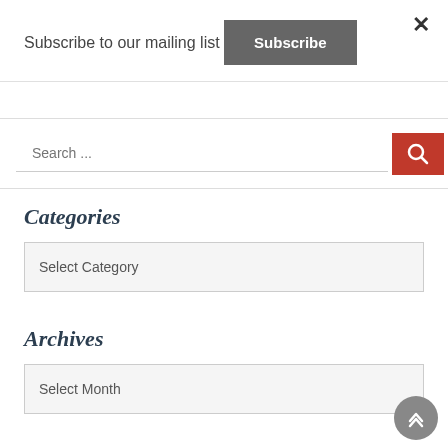Subscribe to our mailing list
Subscribe
Search ...
Categories
Select Category
Archives
Select Month